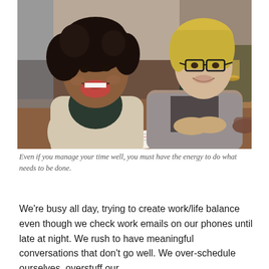[Figure (photo): Two women sitting at a table in a restaurant or cafe setting. The woman on the left has curly dark hair and is laughing with her mouth wide open, wearing a light beige blazer over a dark top. The woman on the right has blonde hair and glasses, smiling, wearing a gray blazer. On the table there are smartphones, a notebook, papers, a coffee cup with saucer, and what appears to be drinks. A third person's hand is partially visible on the right.]
Even if you manage your time well, you must have the energy to do what needs to be done.
We're busy all day, trying to create work/life balance even though we check work emails on our phones until late at night. We rush to have meaningful conversations that don't go well. We over-schedule ourselves, overstuff our